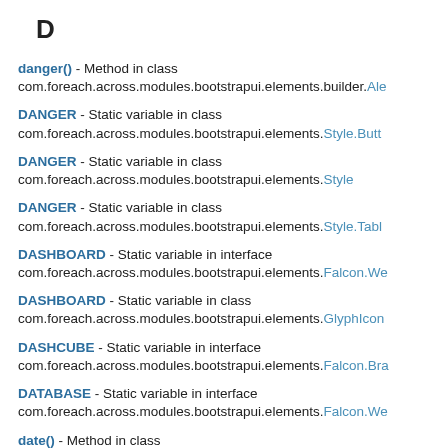D
danger() - Method in class com.foreach.across.modules.bootstrapui.elements.builder.Ale
DANGER - Static variable in class com.foreach.across.modules.bootstrapui.elements.Style.Butt
DANGER - Static variable in class com.foreach.across.modules.bootstrapui.elements.Style
DANGER - Static variable in class com.foreach.across.modules.bootstrapui.elements.Style.Tabl
DASHBOARD - Static variable in interface com.foreach.across.modules.bootstrapui.elements.Falcon.We
DASHBOARD - Static variable in class com.foreach.across.modules.bootstrapui.elements.GlyphIcon
DASHCUBE - Static variable in interface com.foreach.across.modules.bootstrapui.elements.Falcon.Bra
DATABASE - Static variable in interface com.foreach.across.modules.bootstrapui.elements.Falcon.We
date() - Method in class com.foreach.across.modules.bootstrapui.elements.builder.Da